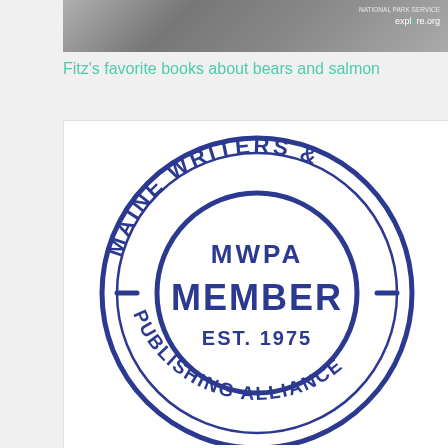[Figure (photo): Grayscale photo with clouds or landscape, National Park Service explore.org watermark in top right]
Fitz's favorite books about bears and salmon
[Figure (logo): Maine Writers & Publishing Alliance MWPA Member Est. 1975 circular badge logo in dark blue]